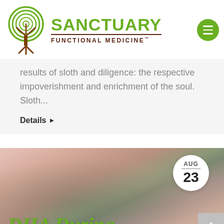Sanctuary Functional Medicine
results of sloth and diligence: the respective impoverishment and enrichment of the soul. Sloth...
Details
[Figure (photo): Close-up photo of a small animal (mouse or similar) held in hands, with green italic text overlaid reading 'DHA During' and a date badge showing AUG 23]
DHA During